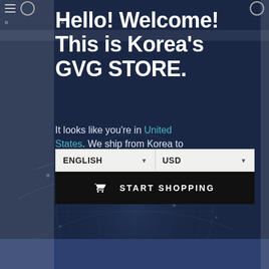Hello! Welcome! This is Korea's GVG STORE.
It looks like you're in United States. We ship from Korea to worldwide.
[Figure (screenshot): E-commerce popup modal with dark navy background, globe network illustration, language selector (ENGLISH), currency selector (USD), and START SHOPPING button.]